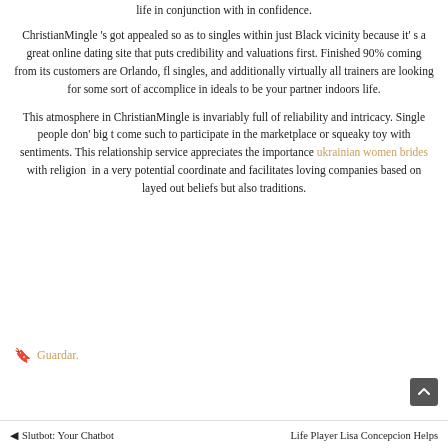life in conjunction with in confidence.
ChristianMingle 's got appealed so as to singles within just Black vicinity because it' s a great online dating site that puts credibility and valuations first. Finished 90% coming from its customers are Orlando, fl singles, and additionally virtually all trainers are looking for some sort of accomplice in ideals to be your partner indoors life.
This atmosphere in ChristianMingle is invariably full of reliability and intricacy. Single people don' big t come such to participate in the marketplace or squeaky toy with sentiments. This relationship service appreciates the importance ukrainian women brides with religion  in a very potential coordinate and facilitates loving companies based on layed out beliefs but also traditions.
Guardar.
◄ Slutbot: Your Chatbot   Life Player Lisa Concepcion Helps